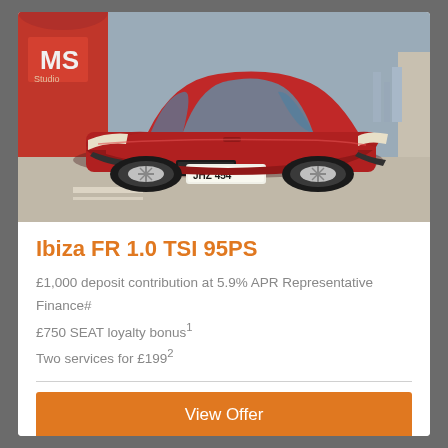[Figure (photo): Red SEAT Ibiza FR hatchback car (registration JHZ 454) photographed in a parking area with red building and city skyline background]
Ibiza FR 1.0 TSI 95PS
£1,000 deposit contribution at 5.9% APR Representative Finance#
£750 SEAT loyalty bonus¹
Two services for £199²
View Offer